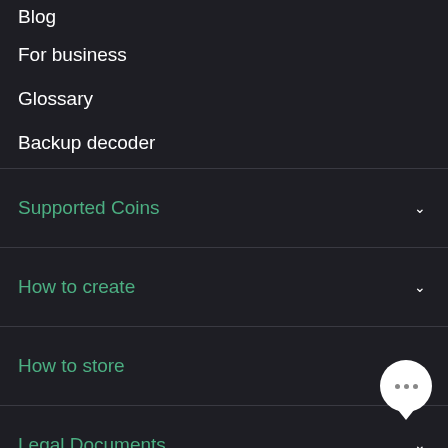Blog
For business
Glossary
Backup decoder
Supported Coins
How to create
How to store
Legal Documents